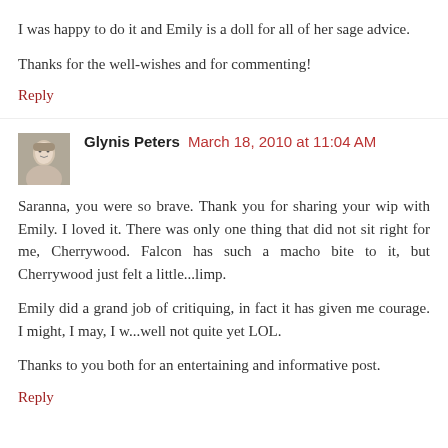I was happy to do it and Emily is a doll for all of her sage advice.
Thanks for the well-wishes and for commenting!
Reply
Glynis Peters  March 18, 2010 at 11:04 AM
Saranna, you were so brave. Thank you for sharing your wip with Emily. I loved it. There was only one thing that did not sit right for me, Cherrywood. Falcon has such a macho bite to it, but Cherrywood just felt a little...limp.
Emily did a grand job of critiquing, in fact it has given me courage. I might, I may, I w...well not quite yet LOL.
Thanks to you both for an entertaining and informative post.
Reply